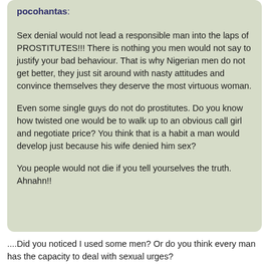pocohantas:
Sex denial would not lead a responsible man into the laps of PROSTITUTES!!! There is nothing you men would not say to justify your bad behaviour. That is why Nigerian men do not get better, they just sit around with nasty attitudes and convince themselves they deserve the most virtuous woman.
Even some single guys do not do prostitutes. Do you know how twisted one would be to walk up to an obvious call girl and negotiate price? You think that is a habit a man would develop just because his wife denied him sex?
You people would not die if you tell yourselves the truth. Ahnahn!!
....Did you noticed I used some men? Or do you think every man has the capacity to deal with sexual urges?